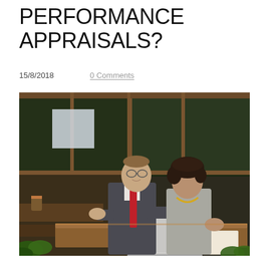PERFORMANCE APPRAISALS?
15/8/2018     0 Comments
[Figure (photo): Two business professionals — a man in a suit with a red tie and a woman in a casual top with a necklace — sitting at a wooden table outdoors in a cafe-like setting with large windows and greenery, both looking at an open laptop.]